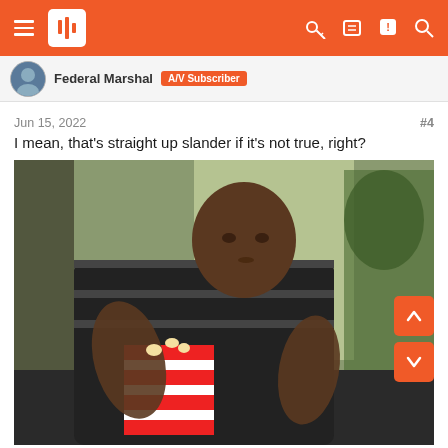Navigation bar with hamburger menu, site logo, and icons
Federal Marshal  A/V Subscriber
Jun 15, 2022   #4
I mean, that's straight up slander if it's not true, right?
[Figure (photo): Young man sitting on a couch eating popcorn from a red-and-white striped bucket, wearing a striped sweater, with a plant and window visible in the background.]